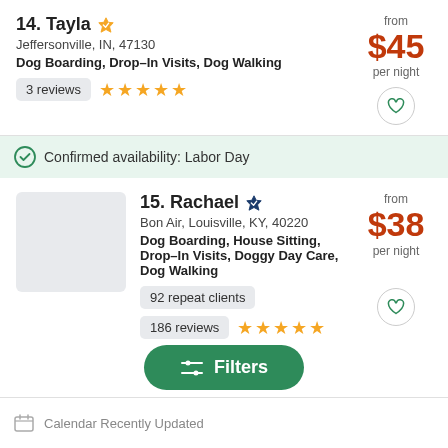14. Tayla — Jeffersonville, IN, 47130 — Dog Boarding, Drop-In Visits, Dog Walking — from $45 per night — 3 reviews — 5 stars
Confirmed availability: Labor Day
15. Rachael — Bon Air, Louisville, KY, 40220 — Dog Boarding, House Sitting, Drop-In Visits, Doggy Day Care, Dog Walking — from $38 per night — 92 repeat clients — 186 reviews — 5 stars
Filters
Calendar Recently Updated